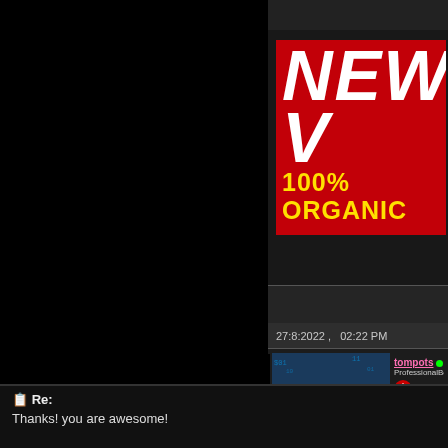[Figure (screenshot): Left half of page is solid black background]
[Figure (illustration): Red banner with white bold text 'NEW V' and yellow text '100% ORGANIC' — partially cut off on right side]
27:8:2022 ,   02:22 PM
[Figure (photo): Avatar photo: person in black hoodie and sunglasses against digital matrix background]
tompots • ProfessionalBo... Donor...
🗒 Re:
Thanks! you are awesome!